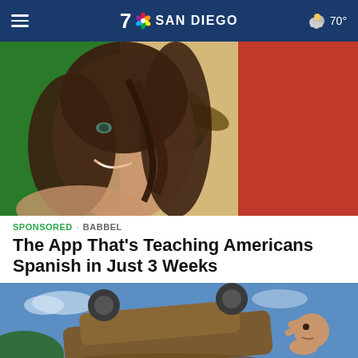7 NBC SAN DIEGO  70°
[Figure (photo): Smiling woman with hair blowing across her face, superimposed over a Mexican flag background (green, white, red stripes with eagle emblem in center).]
SPONSORED · BABBEL
The App That's Teaching Americans Spanish in Just 3 Weeks
[Figure (photo): Person lifting or pushing a muddy overturned vehicle against a blue sky background.]